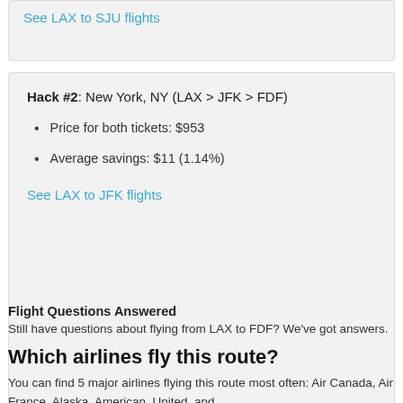See LAX to SJU flights
Hack #2: New York, NY (LAX > JFK > FDF)
Price for both tickets: $953
Average savings: $11 (1.14%)
See LAX to JFK flights
Flight Questions Answered
Still have questions about flying from LAX to FDF? We've got answers.
Which airlines fly this route?
You can find 5 major airlines flying this route most often: Air Canada, Air France, Alaska, American, United, and